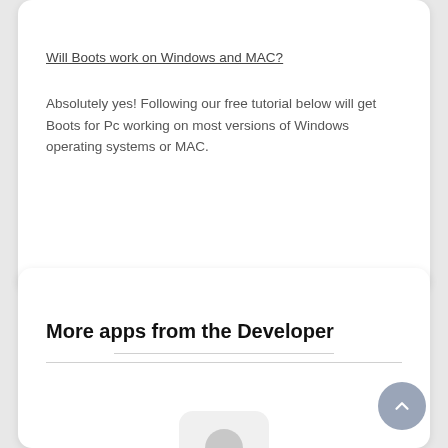Will Boots work on Windows and MAC?
Absolutely yes! Following our free tutorial below will get Boots for Pc working on most versions of Windows operating systems or MAC.
More apps from the Developer
[Figure (illustration): Partially visible app icon placeholder with a person silhouette, shown at the bottom of a white card]